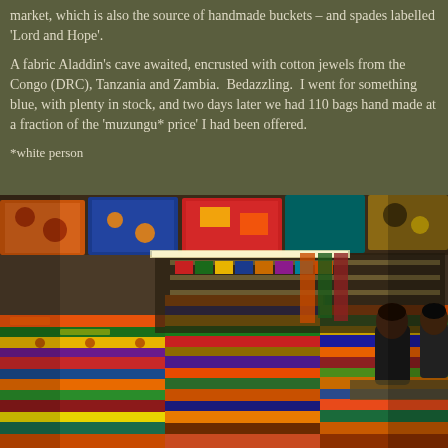market, which is also the source of handmade buckets – and spades labelled 'Lord and Hope'.
A fabric Aladdin's cave awaited, encrusted with cotton jewels from the Congo (DRC), Tanzania and Zambia. Bedazzling. I went for something blue, with plenty in stock, and two days later we had 110 bags hand made at a fraction of the 'muzungu* price' I had been offered.
*white person
[Figure (photo): Interior of a vibrant fabric market stall filled with stacks of colorful African print fabrics (ankara/wax prints) in red, orange, blue, green, and yellow patterns. Several people are visible in the background browsing and selling. Fabric bolts are stacked high on both sides and hanging from the ceiling.]